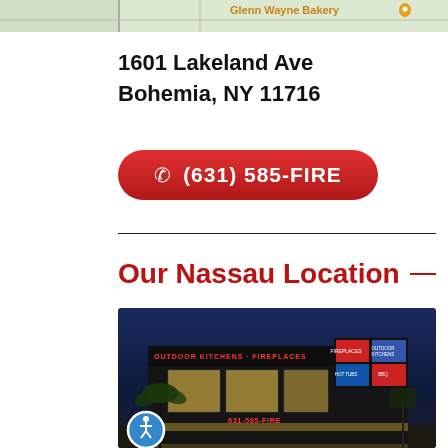[Figure (map): Partial map view showing Glenn Wayne Bakery label with map pin marker, cropped at top of page]
1601 Lakeland Ave
Bohemia, NY 11716
(631) 585-FIRE
Our Nassau Location
[Figure (photo): Exterior night photo of a retail fireplace/kitchen/BBQ store building with illuminated signage reading fireplaces, outdoor kitchens, hot tubs, and phone number 631-585-FIRE. Dark blue twilight sky, palm trees in foreground, building lit with warm lighting.]